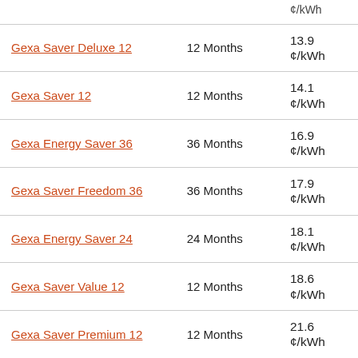| Plan | Term | Rate |
| --- | --- | --- |
| Gexa Saver Deluxe 12 | 12 Months | 13.9 ¢/kWh |
| Gexa Saver 12 | 12 Months | 14.1 ¢/kWh |
| Gexa Energy Saver 36 | 36 Months | 16.9 ¢/kWh |
| Gexa Saver Freedom 36 | 36 Months | 17.9 ¢/kWh |
| Gexa Energy Saver 24 | 24 Months | 18.1 ¢/kWh |
| Gexa Saver Value 12 | 12 Months | 18.6 ¢/kWh |
| Gexa Saver Premium 12 | 12 Months | 21.6 ¢/kWh |